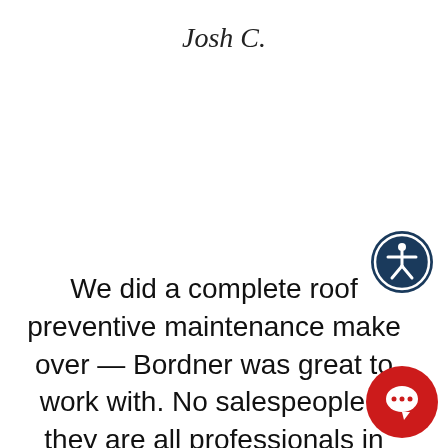Josh C.
We did a complete roof preventive maintenance make over — Bordner was great to work with. No salespeople – they are all professionals in their roles. W
[Figure (illustration): Accessibility icon: dark blue circle with white stick figure person with arms outstretched, surrounded by a circular arrow]
[Figure (illustration): Red circular chat bubble button with white speech bubble icon]